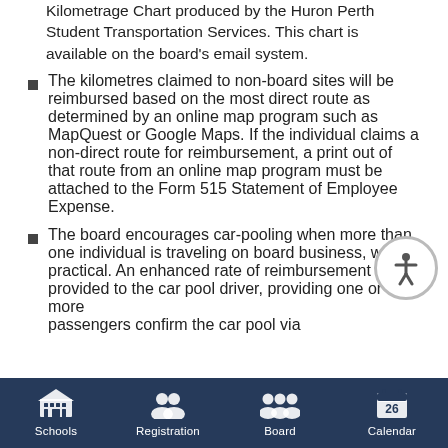Kilometrage Chart produced by the Huron Perth Student Transportation Services. This chart is available on the board's email system.
The kilometres claimed to non-board sites will be reimbursed based on the most direct route as determined by an online map program such as MapQuest or Google Maps. If the individual claims a non-direct route for reimbursement, a print out of that route from an online map program must be attached to the Form 515 Statement of Employee Expense.
The board encourages car-pooling when more than one individual is traveling on board business, where practical. An enhanced rate of reimbursement is provided to the car pool driver, providing one or more passengers confirm the car pool via
Schools  Registration  Board  Calendar